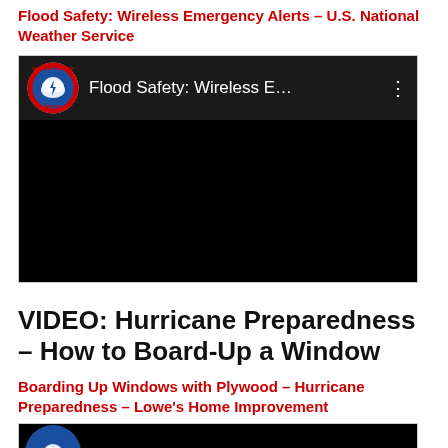Flood Safety: Wireless Emergency Alerts – U.S. National Weather Service
[Figure (screenshot): YouTube video thumbnail for 'Flood Safety: Wireless E...' featuring the NWS logo and black video area]
VIDEO: Hurricane Preparedness – How to Board-Up a Window
Boarding Up Windows with Plywood – Hurricane Preparedness – Lowe's Home Improvement
[Figure (screenshot): Bottom of a YouTube video thumbnail showing blue circular logo on black background]